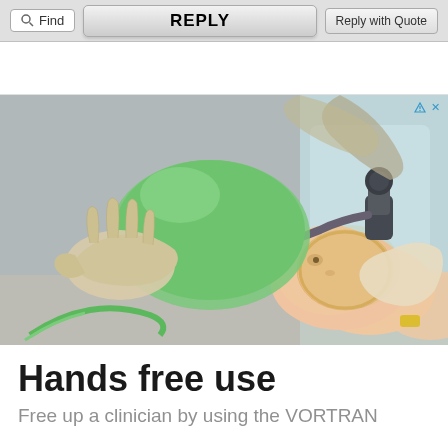[Figure (screenshot): Toolbar with Find button, REPLY button, and Reply with Quote button on grey background]
[Figure (photo): Medical photo of gloved hands holding a green ambu bag / oxygen mask over a baby or mannequin's face in a clinical setting]
Hands free use
Free up a clinician by using the VORTRAN